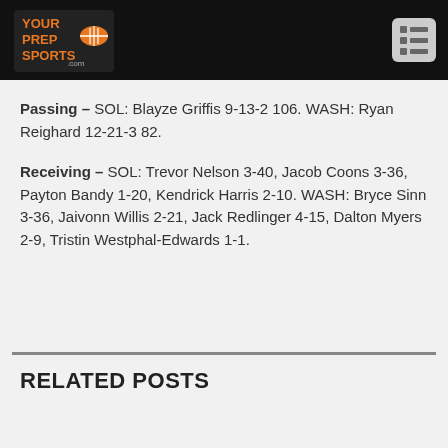YourPrepSports.com
Passing – SOL: Blayze Griffis 9-13-2 106. WASH: Ryan Reighard 12-21-3 82.
Receiving – SOL: Trevor Nelson 3-40, Jacob Coons 3-36, Payton Bandy 1-20, Kendrick Harris 2-10. WASH: Bryce Sinn 3-36, Jaivonn Willis 2-21, Jack Redlinger 4-15, Dalton Myers 2-9, Tristin Westphal-Edwards 1-1.
RELATED POSTS